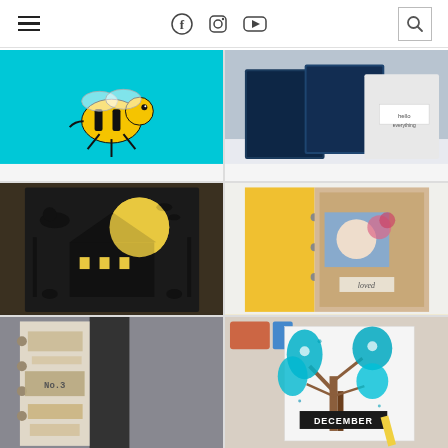Navigation bar with hamburger menu, social media icons (Facebook, Instagram, YouTube), and search icon
[Figure (photo): Craft card featuring a yellow and black bee character on a bright teal/turquoise background]
[Figure (photo): Dark navy blue greeting cards or scrapbook pages arrangement on white surface]
[Figure (photo): Halloween pop-up card with black silhouette haunted house, witch on broomstick, bats and cats on dark background]
[Figure (photo): Yellow planner/journal with mixed media art page featuring a photograph and text 'loved']
[Figure (photo): Dark ring-bound journal/planner with vintage ephemera collage pages including 'No.3' label]
[Figure (photo): Mixed media art card with teal blue tree and leaf shapes, text reading 'DECEMBER', watercolor paints visible nearby]